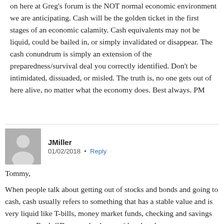on here at Greg's forum is the NOT normal economic environment we are anticipating. Cash will be the golden ticket in the first stages of an economic calamity. Cash equivalents may not be liquid, could be bailed in, or simply invalidated or disappear. The cash conundrum is simply an extension of the preparedness/survival deal you correctly identified. Don't be intimidated, dissuaded, or misled. The truth is, no one gets out of here alive, no matter what the economy does. Best always. PM
JMiller   01/02/2018  •  Reply
Tommy,

When people talk about getting out of stocks and bonds and going to cash, cash usually refers to something that has a stable value and is very liquid like T-bills, money market funds, checking and savings accounts. Bank CDs may also be considered cash.